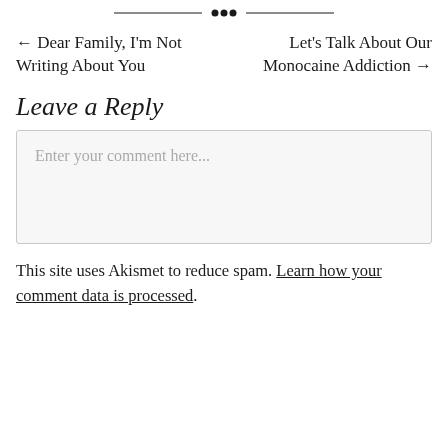[Figure (other): Decorative horizontal divider with ornamental dot motif in the center]
← Dear Family, I'm Not Writing About You
Let's Talk About Our Monocaine Addiction →
Leave a Reply
Enter your comment here...
This site uses Akismet to reduce spam. Learn how your comment data is processed.